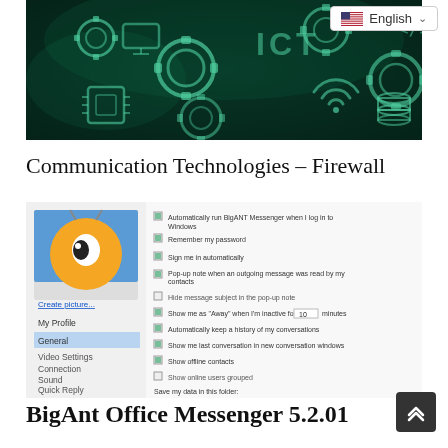[Figure (photo): ICT technology background image with glowing green gear icons and technology symbols on dark green background]
English
Communication Technologies – Firewall
[Figure (screenshot): BigAnt Office Messenger settings dialog showing General settings panel with options like auto-run, remember password, sign in automatically, popup notifications, show as Away, keep history, show last conversation, show offline contacts, show online users grouped, and save data folder path. Left panel shows navigation menu with My Profile, General (selected/highlighted), Video Settings, Connection, Sound, Quick Reply, HotKeys.]
BigAnt Office Messenger 5.2.01